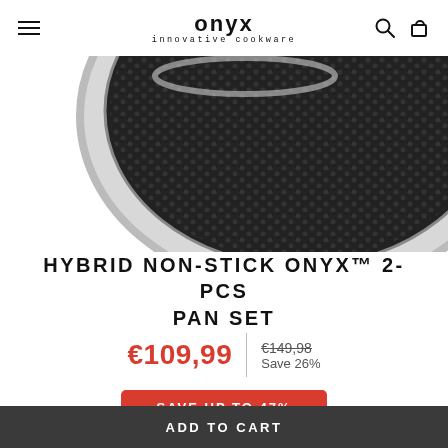onyx innovative cookware
[Figure (photo): Top-down view of a non-stick pan with dark honeycomb-textured interior and stainless steel rim, partially cropped]
HYBRID NON-STICK ONYX™ 2-PCS PAN SET
€109,99 | €149,98 Save 26%
SAVE UP TO 47%
ADD TO CART